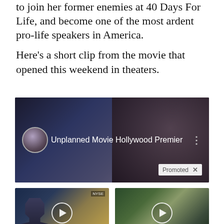to join her former enemies at 40 Days For Life, and become one of the most ardent pro-life speakers in America.
Here's a short clip from the movie that opened this weekend in theaters.
[Figure (screenshot): Video thumbnail for 'Unplanned Movie Hollywood Premier' with promoted badge and three-dot menu icon]
[Figure (screenshot): Ad: 'Biden Probably Wants This Video Destroyed — Massive Currency Upheaval Has Started' with view count 103,854]
[Figure (screenshot): Ad: 'Everyone Who Believes In God Should Watch This. It Will Blow Your Mind' with view count 709,953]